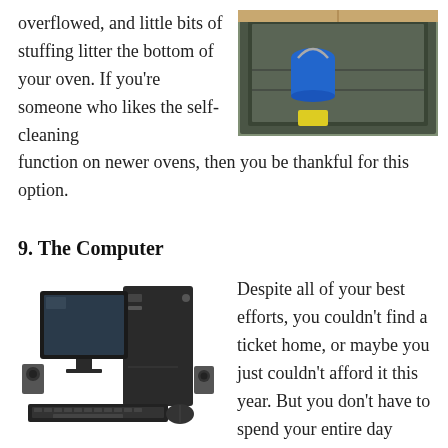overflowed, and little bits of stuffing litter the bottom of your oven. If you're someone who likes the self-cleaning function on newer ovens, then you be thankful for this option.
[Figure (photo): An open oven with a blue bucket and yellow sponge inside, kitchen cabinets visible in background]
9. The Computer
[Figure (photo): A desktop computer setup with monitor, tower, keyboard, mouse, and two small speakers]
Despite all of your best efforts, you couldn't find a ticket home, or maybe you just couldn't afford it this year. But you don't have to spend your entire day wallowing in your sweatpants and watching Netflix. One quick Skype or Google